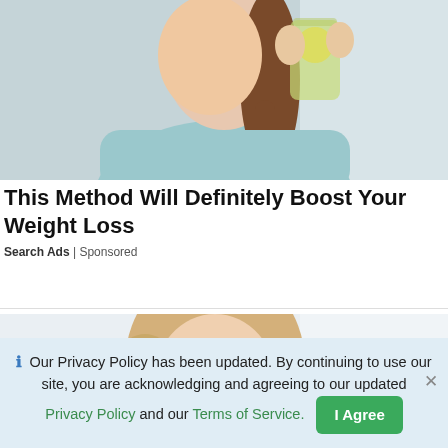[Figure (photo): Woman in light blue top with braided hair drinking from a glass of water with lemon and mint]
This Method Will Definitely Boost Your Weight Loss
Search Ads | Sponsored
[Figure (photo): Blonde woman with curly hair looking at camera against light background]
Our Privacy Policy has been updated. By continuing to use our site, you are acknowledging and agreeing to our updated Privacy Policy and our Terms of Service.